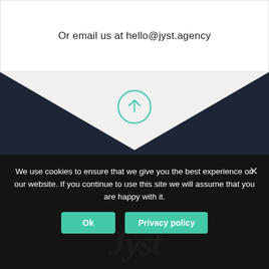Or email us at hello@jyst.agency
[Figure (illustration): Teal outlined circle with an upward-pointing arrow in the center, overlaid on a dark navy chevron/V-shape background graphic]
[Figure (logo): Jyst agency logo in white italic script font on dark navy background]
We use cookies to ensure that we give you the best experience on our website. If you continue to use this site we will assume that you are happy with it.
Ok
Privacy policy